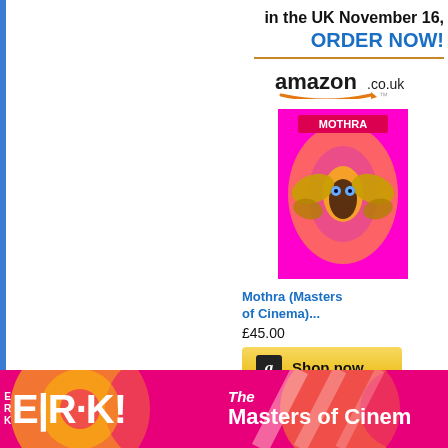in the UK November 16,
ORDER NOW!
[Figure (logo): Amazon.co.uk logo with orange arrow]
[Figure (photo): Mothra (Masters of Cinema) Blu-ray product image showing colorful moth artwork]
Mothra (Masters of Cinema)...
£45.00
[Figure (other): Amazon Shop now button in yellow/gold]
[Figure (photo): Bottom banner showing ERK! and The Masters of Cinema branding in pink/yellow]